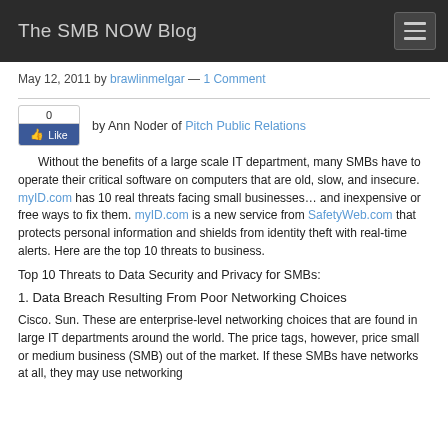The SMB NOW Blog
May 12, 2011 by brawlinmelgar — 1 Comment
[Figure (other): Facebook Like widget showing count of 0 and a Like button]
by Ann Noder of Pitch Public Relations
Without the benefits of a large scale IT department, many SMBs have to operate their critical software on computers that are old, slow, and insecure. myID.com has 10 real threats facing small businesses… and inexpensive or free ways to fix them. myID.com is a new service from SafetyWeb.com that protects personal information and shields from identity theft with real-time alerts. Here are the top 10 threats to business.
Top 10 Threats to Data Security and Privacy for SMBs:
1. Data Breach Resulting From Poor Networking Choices
Cisco. Sun. These are enterprise-level networking choices that are found in large IT departments around the world. The price tags, however, price small or medium business (SMB) out of the market. If these SMBs have networks at all, they may use networking